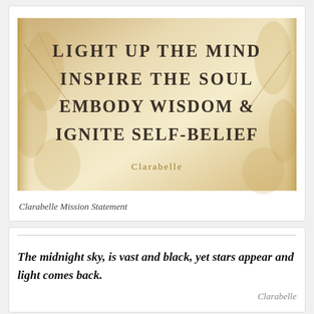[Figure (illustration): Clarabelle mission statement image with golden/cream floral background and text: LIGHT UP THE MIND / INSPIRE THE SOUL / EMBODY WISDOM & / IGNITE SELF-BELIEF / Clarabelle]
Clarabelle Mission Statement
The midnight sky, is vast and black, yet stars appear and light comes back.
Clarabelle